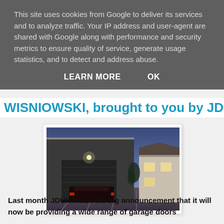This site uses cookies from Google to deliver its services and to analyze traffic. Your IP address and user-agent are shared with Google along with performance and security metrics to ensure quality of service, generate usage statistics, and to detect and address abuse.
LEARN MORE   OK
WISNIOWSKI, brought to you by JDUK
[Figure (photo): Modern house at dusk with a dark grey garage door open, revealing a sports car inside. The building has a flat roof contemporary architecture with warm interior lighting visible through windows on the right side.]
Last month JDUK made the big announcement that it will now be providing a wide range of garage doors